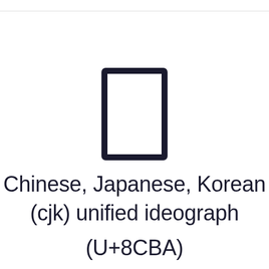[Figure (illustration): A large CJK character (vertical rectangle shape resembling the character 冂 or similar) rendered in dark navy/dark blue color, displayed prominently in the upper center of the page.]
Chinese, Japanese, Korean (cjk) unified ideograph
(U+8CBA)